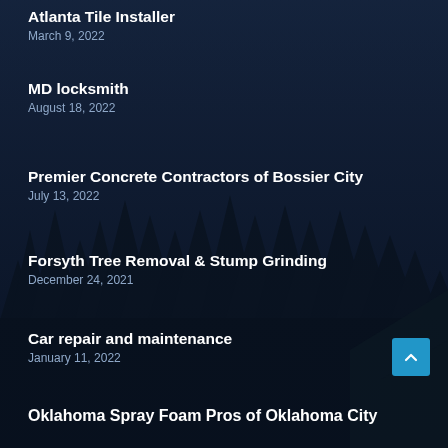Atlanta Tile Installer
March 9, 2022
MD locksmith
August 18, 2022
Premier Concrete Contractors of Bossier City
July 13, 2022
Forsyth Tree Removal & Stump Grinding
December 24, 2021
Car repair and maintenance
January 11, 2022
Oklahoma Spray Foam Pros of Oklahoma City